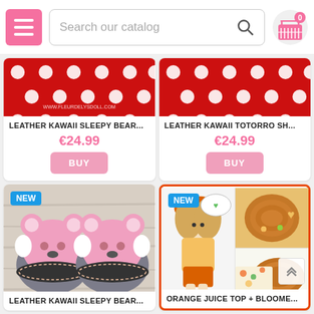[Figure (screenshot): E-commerce website header with pink hamburger menu button, search bar reading 'Search our catalog', and pink shopping cart icon with 0 badge]
[Figure (photo): Red polka dot fabric/ribbon product image for Leather Kawaii Sleepy Bear with www.fleurdelysdoll.com watermark]
LEATHER KAWAII SLEEPY BEAR...
€24.99
BUY
[Figure (photo): Red polka dot fabric/ribbon product image for Leather Kawaii Totorro Sh...]
LEATHER KAWAII TOTORRO SH...
€24.99
BUY
[Figure (photo): NEW badge. Pink bear-faced doll shoes/slippers on wooden surface, watermark www.fleurdelysdoll.com. Product: Leather Kawaii Sleepy Bear...]
LEATHER KAWAII SLEEPY BEAR...
[Figure (photo): NEW badge. Orange-themed doll with orange hat, floral outfit, and crochet accessories collage. Product: Orange Juice Top + Bloome... Highlighted with orange border.]
ORANGE JUICE TOP + BLOOME...